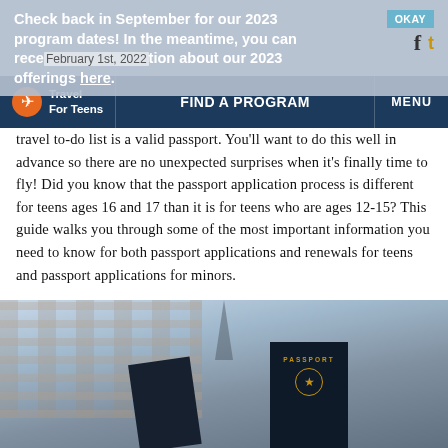Check back in September for our 2023 program dates! In the meantime, you can request information about our 2023 offerings here.
February 1st, 2022
Travel For Teens | FIND A PROGRAM | MENU
travel to-do list is a valid passport. You'll want to do this well in advance so there are no unexpected surprises when it's finally time to fly! Did you know that the passport application process is different for teens ages 16 and 17 than it is for teens who are ages 12-15? This guide walks you through some of the most important information you need to know for both passport applications and renewals for teens and passport applications for minors.
[Figure (photo): Photo showing two dark navy passport books held up in front of a blurred European-style building background. One passport has 'PASSPORT' printed in gold lettering.]